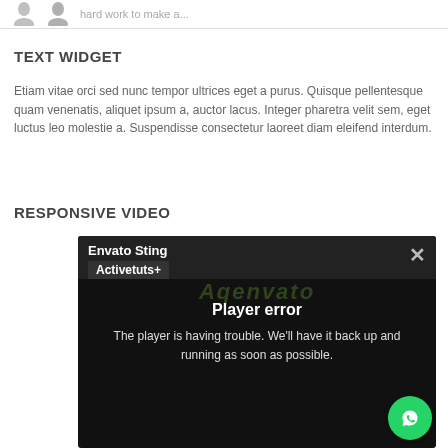hard work to make a...
TEXT WIDGET
Etiam vitae orci sed nunc tempor ultrices eget a purus. Quisque pellentesque quam venenatis, aliquet ipsum a, auctor lacus. Integer pharetra velit sem, eget luctus leo molestie a. Suspendisse consectetur laoreet diam eleifend interdum.
RESPONSIVE VIDEO
[Figure (screenshot): Video player screenshot showing Envato Sting with Player error message and Activetuts+ subtitle, on dark background with Envato watermark. WhatsApp button visible in bottom right.]